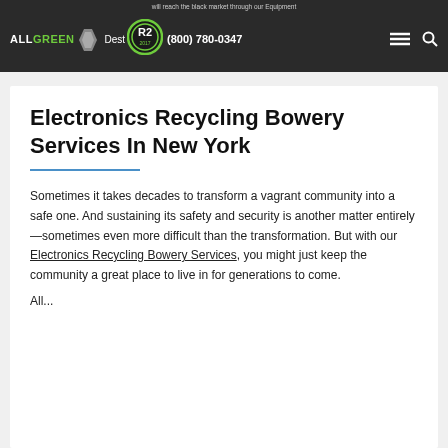will reach the black market through our Equipment Dest... (800) 780-0347
Electronics Recycling Bowery Services In New York
Sometimes it takes decades to transform a vagrant community into a safe one. And sustaining its safety and security is another matter entirely—sometimes even more difficult than the transformation. But with our Electronics Recycling Bowery Services, you might just keep the community a great place to live in for generations to come.
All...